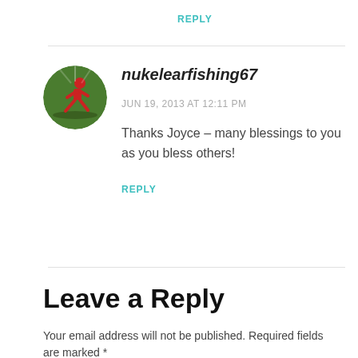REPLY
[Figure (illustration): Circular avatar icon showing a red running figure on a green background]
nukelearfishing67
JUN 19, 2013 AT 12:11 PM
Thanks Joyce – many blessings to you as you bless others!
REPLY
Leave a Reply
Your email address will not be published. Required fields are marked *